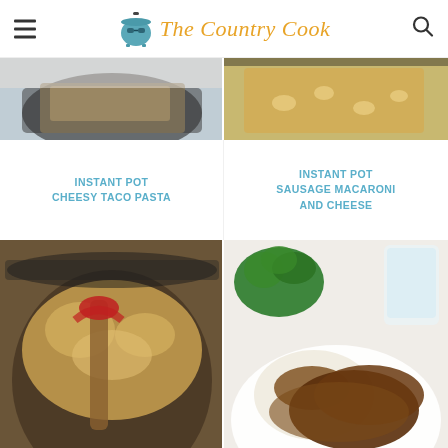The Country Cook
[Figure (photo): Food photo - Instant Pot Cheesy Taco Pasta in a dark skillet]
[Figure (photo): Food photo - Instant Pot Sausage Macaroni and Cheese in a pan]
INSTANT POT CHEESY TACO PASTA
INSTANT POT SAUSAGE MACARONI AND CHEESE
[Figure (photo): Food photo - Cherry cobbler in Instant Pot with serving spoon]
[Figure (photo): Food photo - Beef with gravy, mashed potatoes and broccoli on a plate]